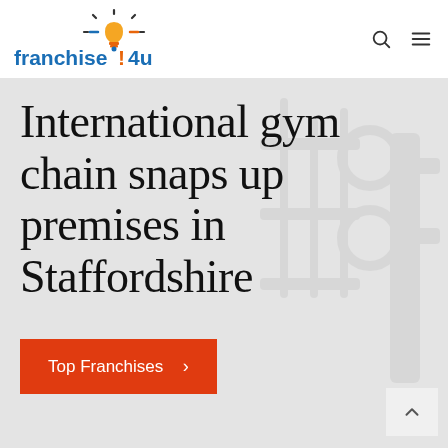[Figure (logo): Franchise4u logo with lightbulb icon in blue, orange and yellow, and text 'franchise!4u' in blue]
International gym chain snaps up premises in Staffordshire
Top Franchises >